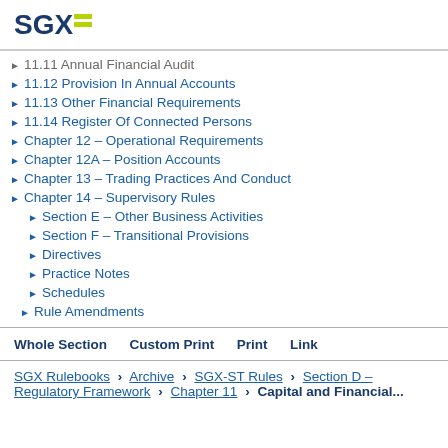SGX
11.11 Annual Financial Audit
11.12 Provision In Annual Accounts
11.13 Other Financial Requirements
11.14 Register Of Connected Persons
Chapter 12 – Operational Requirements
Chapter 12A – Position Accounts
Chapter 13 – Trading Practices And Conduct
Chapter 14 – Supervisory Rules
Section E – Other Business Activities
Section F – Transitional Provisions
Directives
Practice Notes
Schedules
Rule Amendments
Whole Section   Custom Print   Print   Link
SGX Rulebooks > Archive > SGX-ST Rules > Section D — Regulatory Framework > Chapter 11 > Capital and Financial...